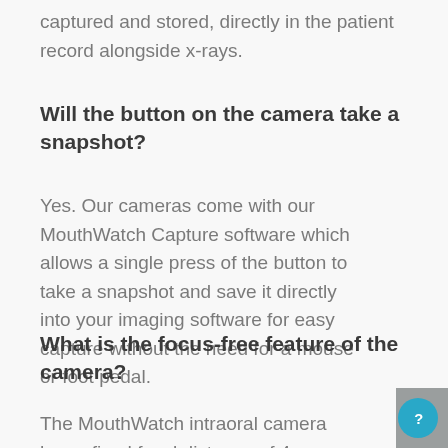captured and stored, directly in the patient record alongside x-rays.
Will the button on the camera take a snapshot?
Yes. Our cameras come with our MouthWatch Capture software which allows a single press of the button to take a snapshot and save it directly into your imaging software for easy capture without the need for a mouse or foot pedal.
What is the focus-free feature of the camera?
The MouthWatch intraoral camera has a fixed focal distance of 4mm – 45mm, which